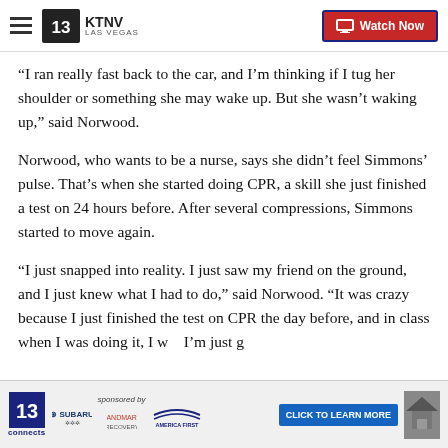KTNV LAS VEGAS — Watch Now
“I ran really fast back to the car, and I’m thinking if I tug her shoulder or something she may wake up. But she wasn’t waking up,” said Norwood.
Norwood, who wants to be a nurse, says she didn’t feel Simmons’ pulse. That’s when she started doing CPR, a skill she just finished a test on 24 hours before. After several compressions, Simmons started to move again.
“I just snapped into reality. I just saw my friend on the ground, and I just knew what I had to do,” said Norwood. “It was crazy because I just finished the test on CPR the day before, and in class when I was doing it, I w… I’m just g…
[Figure (screenshot): Advertisement banner: 13 connects logo, Subaru logo, sponsored by text, Landmark Recovery logo, America First logo, CLICK TO LEARN MORE button, house image]